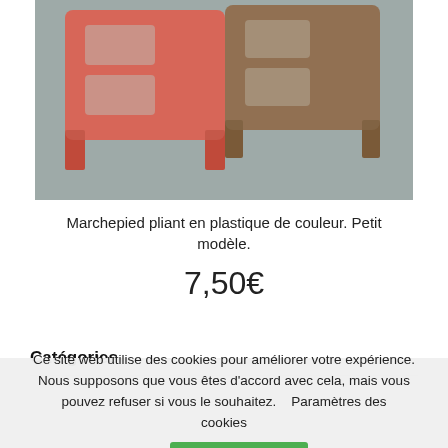[Figure (photo): Photo of two colorful folding plastic step stools (one red/orange and one brown) placed on a grey surface, viewed from above.]
Marchepied pliant en plastique de couleur. Petit modèle.
7,50€
Catégories
Ce site web utilise des cookies pour améliorer votre expérience. Nous supposons que vous êtes d'accord avec cela, mais vous pouvez refuser si vous le souhaitez.    Paramètres des cookies
ACCEPTER